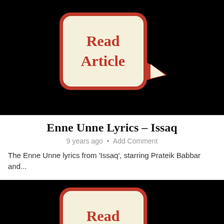[Figure (illustration): Black background with a speech bubble graphic containing bold red text 'Read Article' on a cream/beige rounded rectangle with a red border, with a tail pointing to the right.]
Enne Unne Lyrics – Issaq
9 years ago • Add Comment
The Enne Unne lyrics from 'Issaq', starring Prateik Babbar and...
[Figure (illustration): Black background with a partial speech bubble graphic containing bold red text 'Read' on a cream/beige rounded rectangle with a red border, partially visible at bottom of page.]